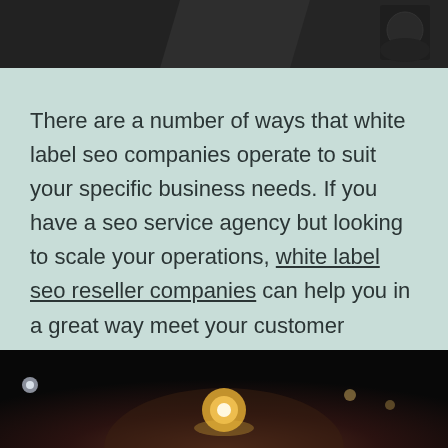[Figure (photo): Dark photograph showing a person, partially visible at the top of the page against a dark background with geometric shapes]
There are a number of ways that white label seo companies operate to suit your specific business needs. If you have a seo service agency but looking to scale your operations, white label seo reseller companies can help you in a great way meet your customer demands.
[Figure (photo): Dark photograph at bottom of page showing a person with bokeh lights in background at night]